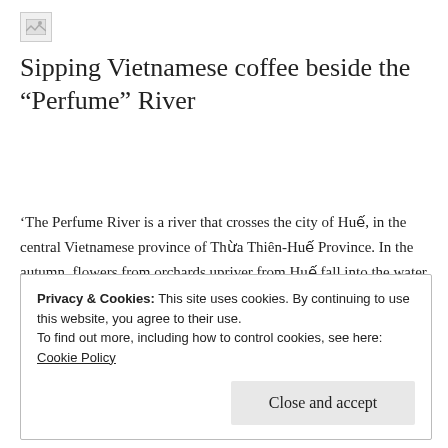[Figure (other): Broken image placeholder icon in top-left corner]
Sipping Vietnamese coffee beside the “Perfume” River
‘The Perfume River is a river that crosses the city of Huế, in the central Vietnamese province of Thừa Thiên-Huế Province. In the autumn, flowers from orchards upriver from Huế fall into the water, giving the river a perfume-like aroma, hence the sobriquet.’ Wikipedia
Privacy & Cookies: This site uses cookies. By continuing to use this website, you agree to their use.
To find out more, including how to control cookies, see here: Cookie Policy
[Close and accept]